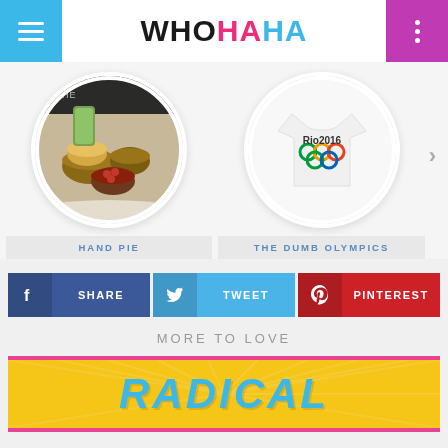WHOHAHA
[Figure (screenshot): Circular thumbnail of food items - hand pies and ingredients in wooden bowls]
HAND PIE
[Figure (screenshot): Circular thumbnail of white t-shirt with Rio 2016 Olympics logo]
THE DUMB OLYMPICS
SHARE
TWEET
PINTEREST
MORE TO LOVE
[Figure (photo): Yellow sunburst background with text RADICAL in teal letters]